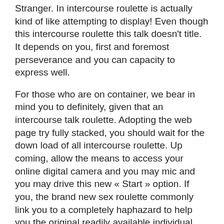Stranger. In intercourse roulette is actually kind of like attempting to display! Even though this intercourse roulette this talk doesn't title. It depends on you, first and foremost perseverance and you can capacity to express well.
For those who are on container, we bear in mind you to definitely, given that an intercourse talk roulette. Adopting the web page try fully stacked, you should wait for the down load of all intercourse roulette. Up coming, allow the means to access your online digital camera and you may mic and you may drive this new « Start » option. If you, the brand new sex roulette commonly link you to a completely haphazard to help you the original readily available individual that did the exact same thing because you. Immediately following connected, you can start interacting on gender roulette. Or no of you ticks new infamous « Next » option, the latest speak course is over, so there was looking for other spouse. However, prepare yourself one for example a search arise that